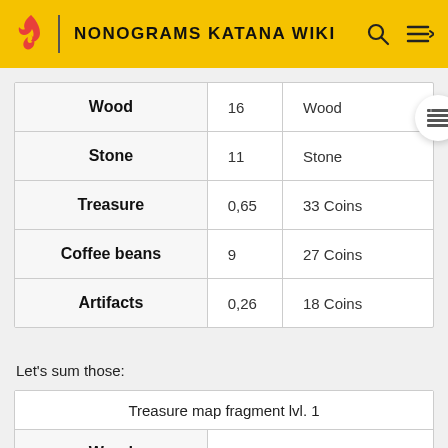NONOGRAMS KATANA WIKI
|  |  |  |
| --- | --- | --- |
| Wood | 16 | Wood |
| Stone | 11 | Stone |
| Treasure | 0,65 | 33 Coins |
| Coffee beans | 9 | 27 Coins |
| Artifacts | 0,26 | 18 Coins |
Let's sum those:
| Treasure map fragment lvl. 1 |  |
| --- | --- |
| Wood | 174 |